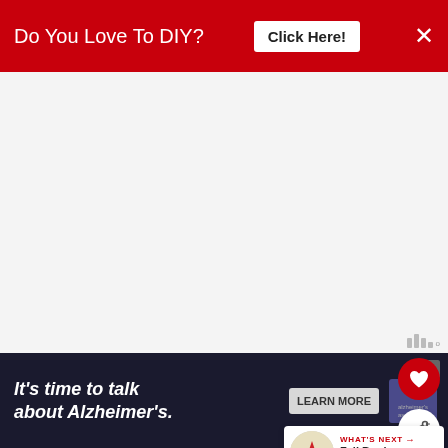Do You Love To DIY? Click Here!
[Figure (other): Advertisement placeholder area (light grey background), with ad label dots top right]
Wooden Leaves
Stain or Antiquing Gel
Thin Brown Marker
Twine
[Figure (other): WHAT'S NEXT arrow thumbnail for Fall Book Page Leaf...]
[Figure (other): Bottom advertisement: It's time to talk about Alzheimer's. with LEARN MORE button and Alzheimer's Association logo]